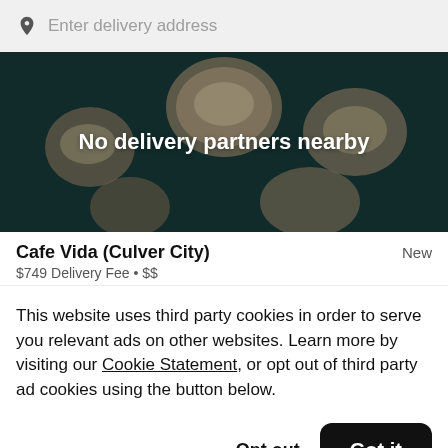Enter delivery address
[Figure (photo): Dark overhead food photo showing bowls of food on a teal table, overlaid with text 'No delivery partners nearby']
Cafe Vida (Culver City)
New
$749 Delivery Fee • $$
This website uses third party cookies in order to serve you relevant ads on other websites. Learn more by visiting our Cookie Statement, or opt out of third party ad cookies using the button below.
Opt out
Got it